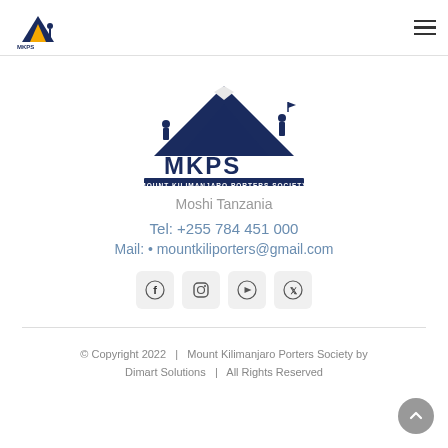MKPS - Mount Kilimanjaro Porters Society (header logo + hamburger menu)
[Figure (logo): MKPS Mount Kilimanjaro Porters Society logo — dark navy silhouette of mountain with porters, bold MKPS lettering, text banner below reading MOUNT KILIMANJARO PORTERS SOCIETY]
Moshi Tanzania
Tel: +255 784 451 000
Mail: • mountkiliporters@gmail.com
[Figure (infographic): Four social media icon buttons: Facebook, Instagram, YouTube, Twitter — rounded square light grey backgrounds]
© Copyright 2022   |   Mount Kilimanjaro Porters Society by Dimart Solutions   |   All Rights Reserved